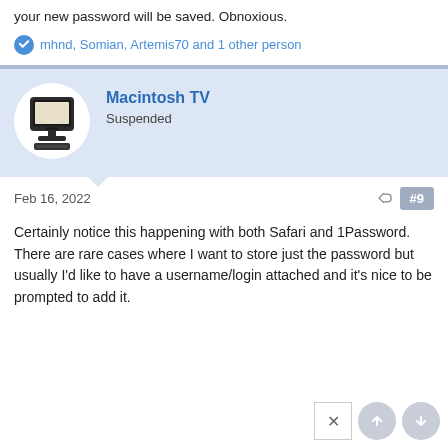your new password will be saved. Obnoxious.
mhnd, Somian, Artemis70 and 1 other person
Macintosh TV
Suspended
Feb 16, 2022
#9
Certainly notice this happening with both Safari and 1Password. There are rare cases where I want to store just the password but usually I'd like to have a username/login attached and it's nice to be prompted to add it.